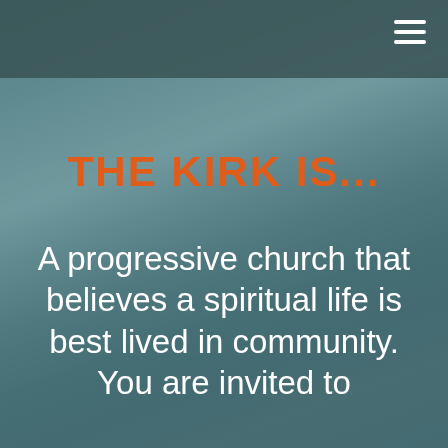[Figure (photo): Sky with clouds background in muted teal/blue-grey tones serving as page background]
≡
THE KIRK IS...
A progressive church that believes a spiritual life is best lived in community. You are invited to